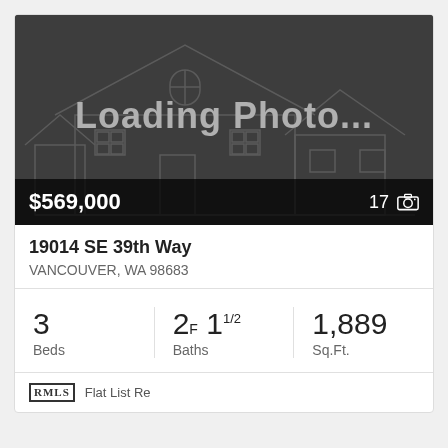[Figure (photo): Loading Photo placeholder with outline of a house on dark grey background showing '$569,000' price and '17' photo count with camera icon]
19014 SE 39th Way
VANCOUVER, WA 98683
3 Beds
2F 11/2 Baths
1,889 Sq.Ft.
RMLS  Flat List Re